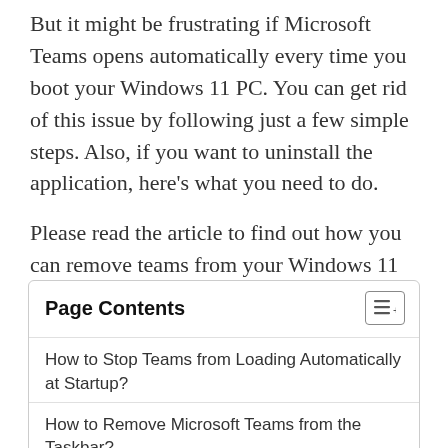But it might be frustrating if Microsoft Teams opens automatically every time you boot your Windows 11 PC. You can get rid of this issue by following just a few simple steps. Also, if you want to uninstall the application, here’s what you need to do.

Please read the article to find out how you can remove teams from your Windows 11 device.
Page Contents
How to Stop Teams from Loading Automatically at Startup?
How to Remove Microsoft Teams from the Taskbar?
How to Uninstall Teams Completely from Windows 11?
Using Settings